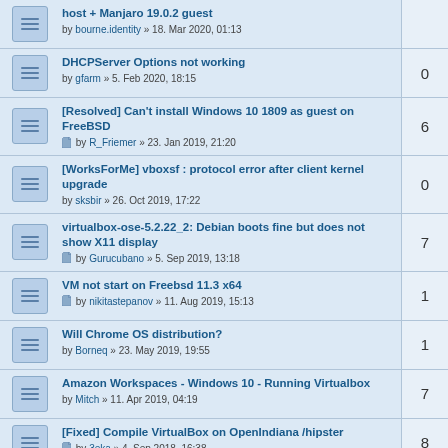host + Manjaro 19.0.2 guest by bourne.identity » 18. Mar 2020, 01:13
DHCPServer Options not working by gfarm » 5. Feb 2020, 18:15
[Resolved] Can't install Windows 10 1809 as guest on FreeBSD by R_Friemer » 23. Jan 2019, 21:20
[WorksForMe] vboxsf : protocol error after client kernel upgrade by sksbir » 26. Oct 2019, 17:22
virtualbox-ose-5.2.22_2: Debian boots fine but does not show X11 display by Gurucubano » 5. Sep 2019, 13:18
VM not start on Freebsd 11.3 x64 by nikitastepanov » 11. Aug 2019, 15:13
Will Chrome OS distribution? by Borneq » 23. May 2019, 19:55
Amazon Workspaces - Windows 10 - Running Virtualbox by Mitch » 11. Apr 2019, 04:19
[Fixed] Compile VirtualBox on OpenIndiana /hipster by 3eka » 4. Sep 2018, 16:38
after upgrade virtualbox 5.2.16 ose can not useing windows 7 in virtualbox by dp_pan » 30. Nov 2018, 03:46
How to make PtoV of and old windows 2003 server